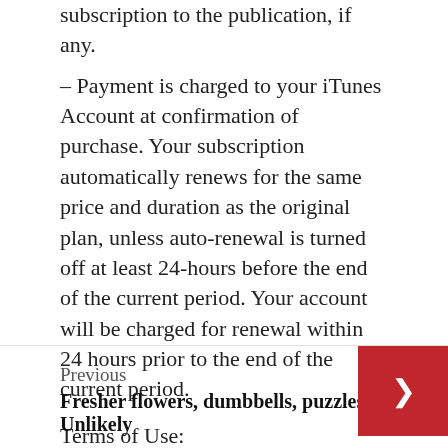subscription to the publication, if any.
– Payment is charged to your iTunes Account at confirmation of purchase. Your subscription automatically renews for the same price and duration as the original plan, unless auto-renewal is turned off at least 24-hours before the end of the current period. Your account will be charged for renewal within 24 hours prior to the end of the current period.
Terms of Use: https://puzzlestore.ximad.com/static/docs/terms-en.html
Privacy Policy: https://zimad.com/policy/
Previous
Fresher flowers, dumbbells, puzzles: Unlikely